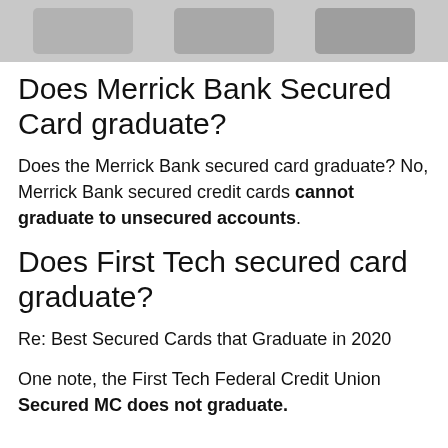[Figure (photo): Image of credit cards, partially visible at top of page]
Does Merrick Bank Secured Card graduate?
Does the Merrick Bank secured card graduate? No, Merrick Bank secured credit cards cannot graduate to unsecured accounts.
Does First Tech secured card graduate?
Re: Best Secured Cards that Graduate in 2020
One note, the First Tech Federal Credit Union Secured MC does not graduate.